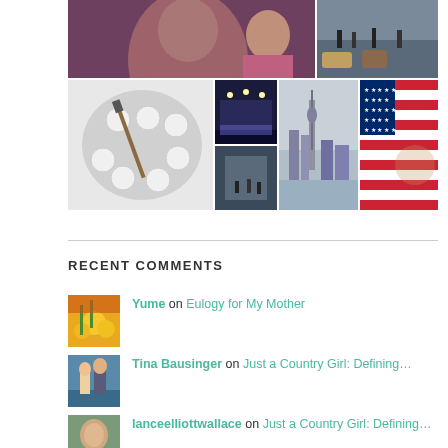[Figure (photo): Photo collage grid: top row has a woman's portrait and a city street photo; bottom row has paint palette, indoor venue, city skyline, and American flag photos.]
RECENT COMMENTS
Yume on Eulogy for My Mother
Tina Bausinger on Just a Country Girl: Defining…
lanceelliottwallace on Just a Country Girl: Defining…
themothership9020 on Just a Country Girl: Defining…
Sandra Johnson on 5 Ways How to Help Your Kid Su…